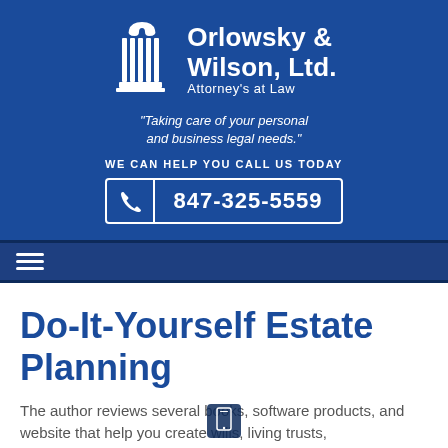[Figure (logo): Orlowsky & Wilson, Ltd. Attorney's at Law logo with white column/pillar icon on blue background]
"Taking care of your personal and business legal needs."
WE CAN HELP YOU CALL US TODAY
847-325-5559
[Figure (other): Navigation hamburger menu icon on dark blue bar]
Do-It-Yourself Estate Planning
The author reviews several books, software products, and website that help you create wills, living trusts, advance directives and more.